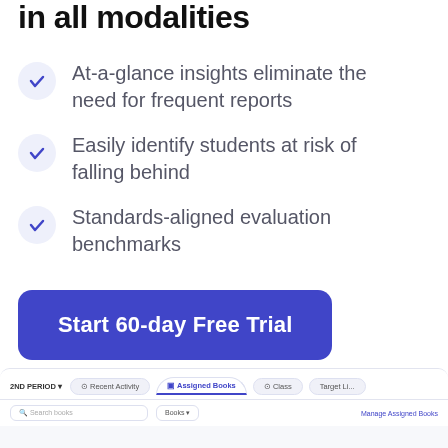in all modalities
At-a-glance insights eliminate the need for frequent reports
Easily identify students at risk of falling behind
Standards-aligned evaluation benchmarks
Start 60-day Free Trial
[Figure (screenshot): App interface screenshot showing tabs: 2ND PERIOD, Recent Activity, Assigned Books (active), Class, Target Li... with a search bar and Books dropdown below]